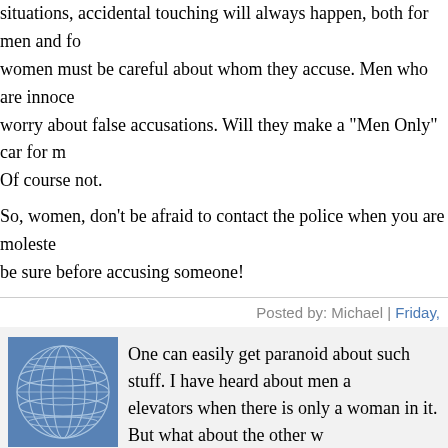situations, accidental touching will always happen, both for men and for women. women must be careful about whom they accuse. Men who are innocent worry about false accusations. Will they make a "Men Only" car for m... Of course not.
So, women, don't be afraid to contact the police when you are molested... be sure before accusing someone!
Posted by: Michael | Friday,
[Figure (illustration): Blue avatar icon with geometric globe/grid pattern]
One can easily get paranoid about such stuff. I have heard about men avoiding elevators when there is only a woman in it. But what about the other way... men are targeted by women?
Posted by: Mehyar | Friday,
The comments to this entry are closed.
watashi to tokyo | Powered by TypePad